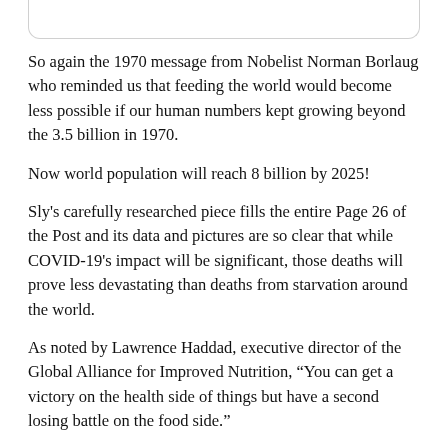So again the 1970 message from Nobelist Norman Borlaug who reminded us that feeding the world would become less possible if our human numbers kept growing beyond the 3.5 billion in 1970.
Now world population will reach 8 billion by 2025!
Sly's carefully researched piece fills the entire Page 26 of the Post and its data and pictures are so clear that while COVID-19's impact will be significant, those deaths will prove less devastating than deaths from starvation around the world.
As noted by Lawrence Haddad, executive director of the Global Alliance for Improved Nutrition, “You can get a victory on the health side of things but have a second losing battle on the food side.”